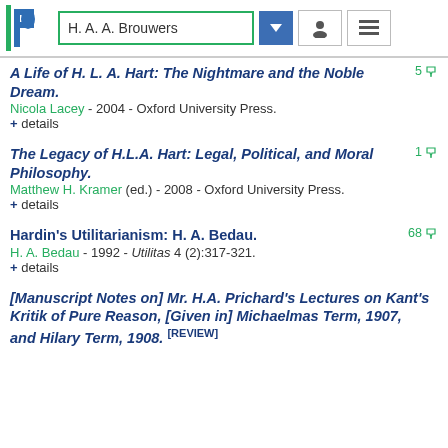[Figure (screenshot): PhilPapers website header with logo, search box showing 'H. A. A. Brouwers', dropdown arrow, user icon, and hamburger menu icon]
A Life of H. L. A. Hart: The Nightmare and the Noble Dream.
Nicola Lacey - 2004 - Oxford University Press.
+ details
The Legacy of H.L.A. Hart: Legal, Political, and Moral Philosophy.
Matthew H. Kramer (ed.) - 2008 - Oxford University Press.
+ details
Hardin's Utilitarianism: H. A. Bedau.
H. A. Bedau - 1992 - Utilitas 4 (2):317-321.
+ details
[Manuscript Notes on] Mr. H.A. Prichard's Lectures on Kant's Kritik of Pure Reason, [Given in] Michaelmas Term, 1907, and Hilary Term, 1908. [REVIEW]